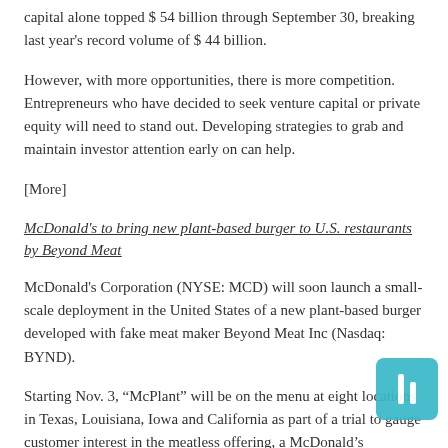capital alone topped $ 54 billion through September 30, breaking last year's record volume of $ 44 billion.
However, with more opportunities, there is more competition. Entrepreneurs who have decided to seek venture capital or private equity will need to stand out. Developing strategies to grab and maintain investor attention early on can help.
[More]
McDonald's to bring new plant-based burger to U.S. restaurants by Beyond Meat
McDonald's Corporation (NYSE: MCD) will soon launch a small-scale deployment in the United States of a new plant-based burger developed with fake meat maker Beyond Meat Inc (Nasdaq: BYND).
Starting Nov. 3, “McPlant” will be on the menu at eight locations in Texas, Louisiana, Iowa and California as part of a trial to gauge customer interest in the meatless offering, a McDonald’s announced last week.